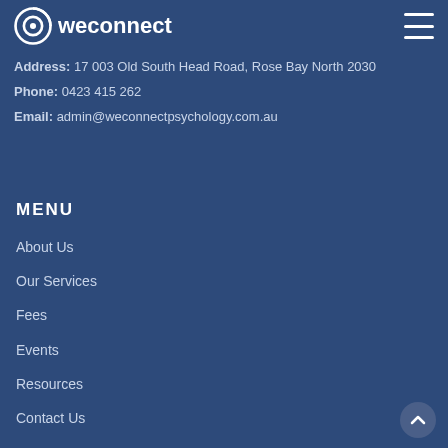weconnect
Address: 17 003 Old South Head Road, Rose Bay North 2030
Phone: 0423 415 262
Email: admin@weconnectpsychology.com.au
MENU
About Us
Our Services
Fees
Events
Resources
Contact Us